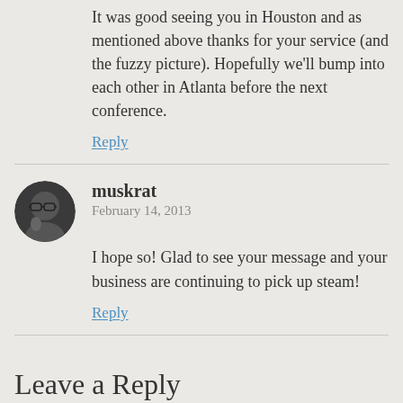It was good seeing you in Houston and as mentioned above thanks for your service (and the fuzzy picture). Hopefully we'll bump into each other in Atlanta before the next conference.
Reply
muskrat
February 14, 2013
I hope so! Glad to see your message and your business are continuing to pick up steam!
Reply
Leave a Reply
Your email address will not be published. Required